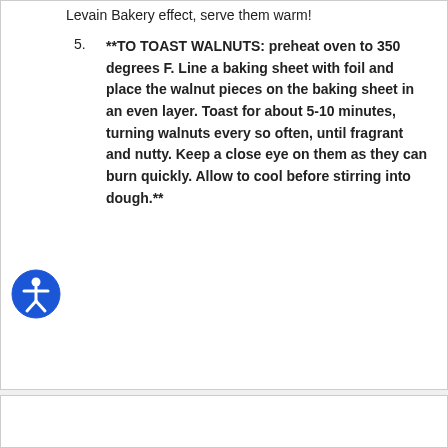Levain Bakery effect, serve them warm!
**TO TOAST WALNUTS: preheat oven to 350 degrees F. Line a baking sheet with foil and place the walnut pieces on the baking sheet in an even layer. Toast for about 5-10 minutes, turning walnuts every so often, until fragrant and nutty. Keep a close eye on them as they can burn quickly. Allow to cool before stirring into dough.**